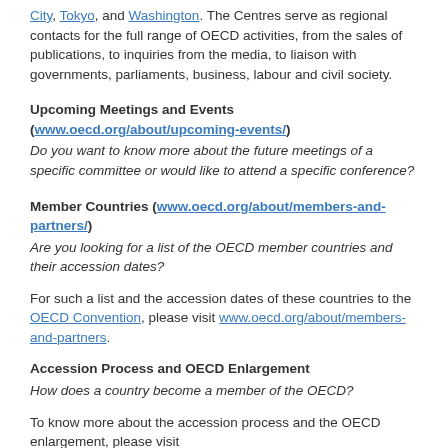City, Tokyo, and Washington. The Centres serve as regional contacts for the full range of OECD activities, from the sales of publications, to inquiries from the media, to liaison with governments, parliaments, business, labour and civil society.
Upcoming Meetings and Events (www.oecd.org/about/upcoming-events/)
Do you want to know more about the future meetings of a specific committee or would like to attend a specific conference?
Member Countries (www.oecd.org/about/members-and-partners/)
Are you looking for a list of the OECD member countries and their accession dates?
For such a list and the accession dates of these countries to the OECD Convention, please visit www.oecd.org/about/members-and-partners.
Accession Process and OECD Enlargement
How does a country become a member of the OECD?
To know more about the accession process and the OECD enlargement, please visit www.oecd.org/about/membersandpartners/enlargement.htm and www.oecd.org/legal/accession-process.htm.
Share